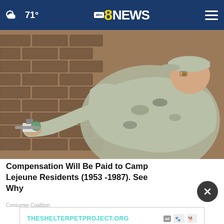71° abc8NEWS
[Figure (photo): Military personnel in camouflage uniform working on a plumbing fixture on a brick wall, crouching down to inspect or repair a water valve]
Compensation Will Be Paid to Camp Lejeune Residents (1953 -1987). See Why
Consumer Coalition
THESHELTERPETPROJECT.ORG